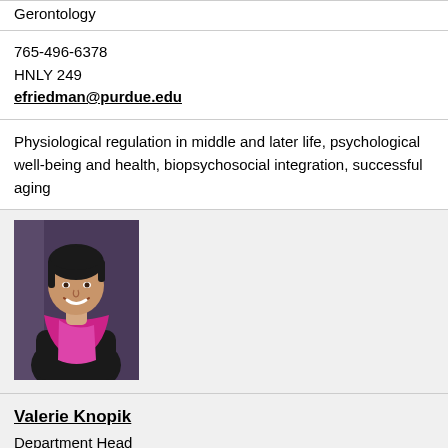Gerontology
765-496-6378
HNLY 249
efriedman@purdue.edu
Physiological regulation in middle and later life, psychological well-being and health, biopsychosocial integration, successful aging
[Figure (photo): Portrait photo of Valerie Knopik, a woman with short dark hair wearing a black outfit and magenta/pink scarf, arms crossed, smiling, against a purple/dark background]
Valerie Knopik
Department Head
Ben & Maxine Miller Professor of Human Development and Family Studies
765-494-9511